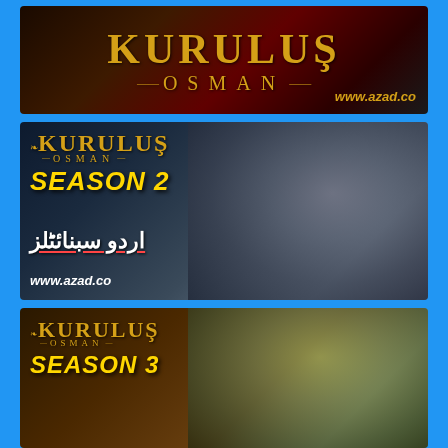[Figure (photo): Kurulus Osman TV series banner 1 - logo with text KURULUS OSMAN and www.azad.co on dark background]
[Figure (photo): Kurulus Osman Season 2 banner with warrior fighting scene, Urdu subtitles text, and www.azad.co watermark on dark blue background]
[Figure (photo): Kurulus Osman Season 3 banner with hooded warrior figure in forest setting on brown background]